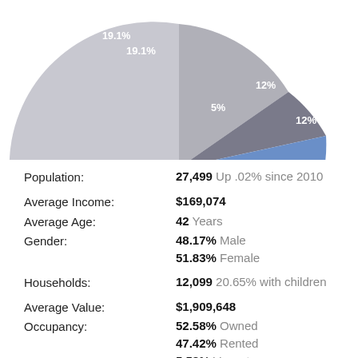[Figure (pie-chart): Population demographics pie chart]
Population: 27,499 Up .02% since 2010
Average Income: $169,074
Average Age: 42 Years
Gender: 48.17% Male
51.83% Female
Households: 12,099 20.65% with children
Average Value: $1,909,648
Occupancy: 52.58% Owned
47.42% Rented
5.58% Vacant
Education: 11.68% High School
5.79% Associate
33.48% Bachelor